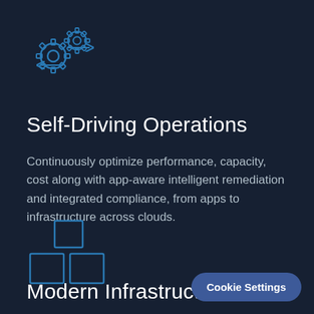[Figure (illustration): Blue outline icon of two gears with arrows indicating automation/operations]
Self-Driving Operations
Continuously optimize performance, capacity, cost along with app-aware intelligent remediation and integrated compliance, from apps to infrastructure across clouds.
[Figure (illustration): Blue outline icon of three stacked/arranged squares representing infrastructure blocks]
Modern Infrastructu
Cookie Settings